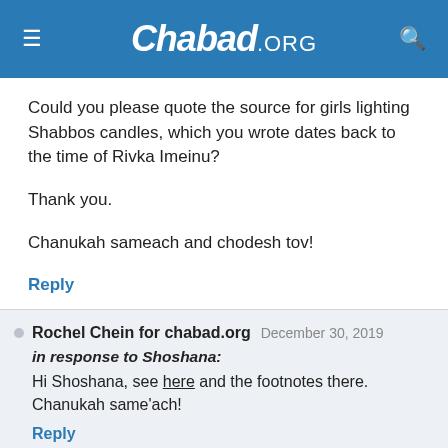Chabad.ORG
Could you please quote the source for girls lighting Shabbos candles, which you wrote dates back to the time of Rivka Imeinu?

Thank you.

Chanukah sameach and chodesh tov!
Reply
Rochel Chein for chabad.org   December 30, 2019
in response to Shoshana:
Hi Shoshana, see here and the footnotes there.
Chanukah same'ach!
Reply